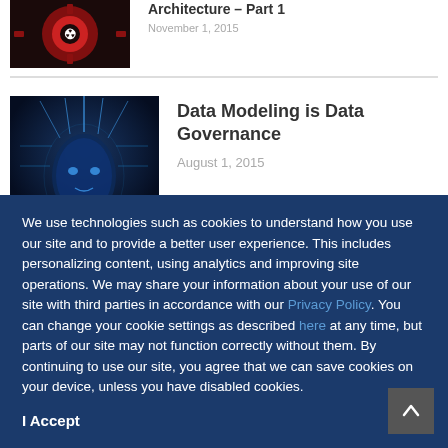Architecture – Part 1
November 1, 2015
[Figure (photo): Red mechanical gear with hazard symbol on dark background]
Data Modeling is Data Governance
August 1, 2015
[Figure (photo): Blue-toned digital human head with data streams emanating from top]
We use technologies such as cookies to understand how you use our site and to provide a better user experience. This includes personalizing content, using analytics and improving site operations. We may share your information about your use of our site with third parties in accordance with our Privacy Policy. You can change your cookie settings as described here at any time, but parts of our site may not function correctly without them. By continuing to use our site, you agree that we can save cookies on your device, unless you have disabled cookies.
I Accept